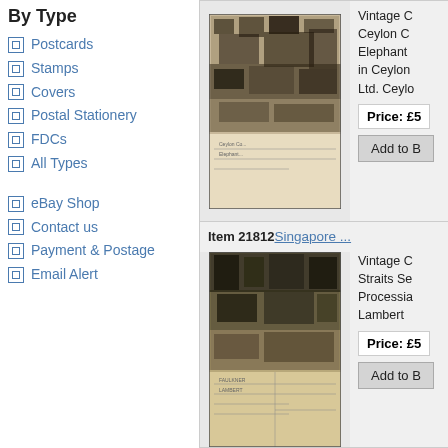By Type
Postcards
Stamps
Covers
Postal Stationery
FDCs
All Types
eBay Shop
Contact us
Payment & Postage
Email Alert
[Figure (photo): Vintage postcard showing Ceylon scene with elephants and crowd]
Vintage C... Ceylon C... Elephant... in Ceylon... Ltd. Ceyl...
Price: £5
Add to B
Item 218124
Singapore ...
[Figure (photo): Vintage postcard showing Singapore Straits Settlements procession scene by Lambert]
Vintage C... Straits Se... Procession... Lambert...
Price: £5
Add to B